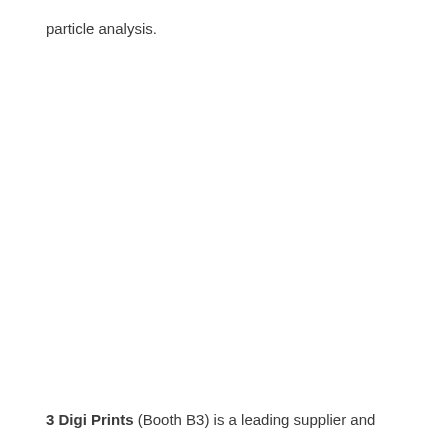particle analysis.
3 Digi Prints (Booth B3) is a leading supplier and